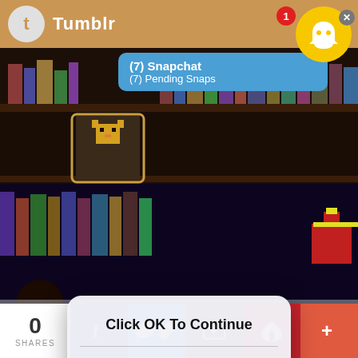[Figure (screenshot): Screenshot of a mobile device showing a Tumblr blog page with a dark bookshelf background image (pixel art style), a Snapchat notification banner reading '(7) Snapchat / (7) Pending Snaps', a Snapchat ghost icon with badge '1' in the top right corner, an iOS-style modal dialog reading 'Click OK To Continue' with an OK button, article text partially visible, and a social sharing bar at the bottom with 0 Shares, Facebook, Twitter, Email, Pinterest, and More buttons.]